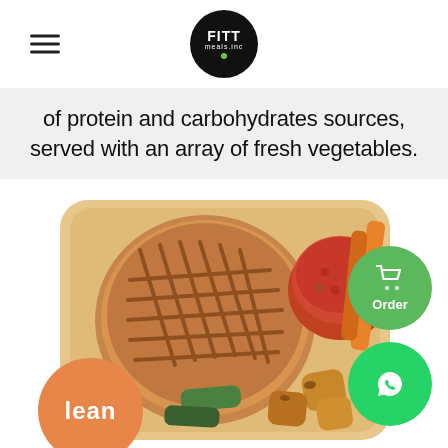[Figure (logo): FITT Meals logo — black circle with white text FITT and meals.inc]
of protein and carbohydrates sources, served with an array of fresh vegetables.
[Figure (photo): A meal prep container with a grilled protein patty, a small cup of tomato sauce, and grilled/roasted vegetables including zucchini and carrots. Orange lean badge bottom left, green Order button and WhatsApp button on the right.]
lean